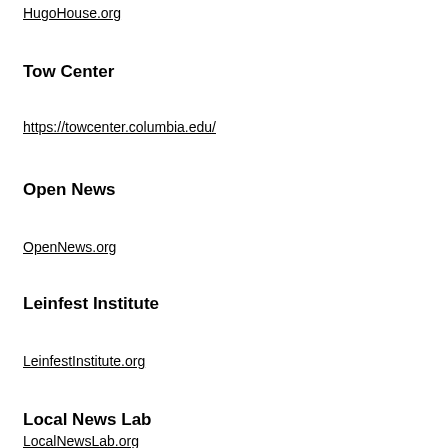HugoHouse.org
Tow Center
https://towcenter.columbia.edu/
Open News
OpenNews.org
Leinfest Institute
LeinfestInstitute.org
Local News Lab
LocalNewsLab.org